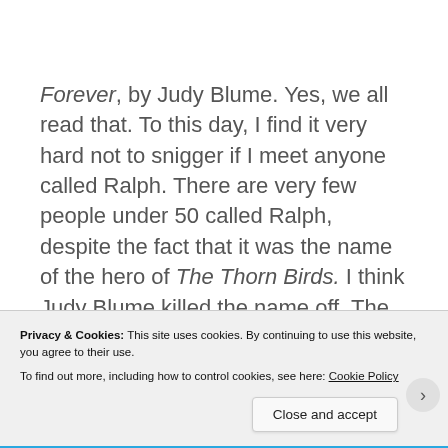Forever, by Judy Blume. Yes, we all read that. To this day, I find it very hard not to snigger if I meet anyone called Ralph. There are very few people under 50 called Ralph, despite the fact that it was the name of the hero of The Thorn Birds. I think Judy Blume killed the name off. The Just Seventeen problem page. The constant fad diets – generally tried by mums and aunties.
Privacy & Cookies: This site uses cookies. By continuing to use this website, you agree to their use.
To find out more, including how to control cookies, see here: Cookie Policy